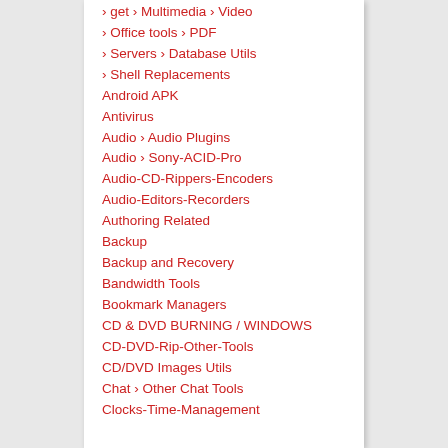› get › Multimedia › Video
› Office tools › PDF
› Servers › Database Utils
› Shell Replacements
Android APK
Antivirus
Audio › Audio Plugins
Audio › Sony-ACID-Pro
Audio-CD-Rippers-Encoders
Audio-Editors-Recorders
Authoring Related
Backup
Backup and Recovery
Bandwidth Tools
Bookmark Managers
CD & DVD BURNING / WINDOWS
CD-DVD-Rip-Other-Tools
CD/DVD Images Utils
Chat › Other Chat Tools
Clocks-Time-Management